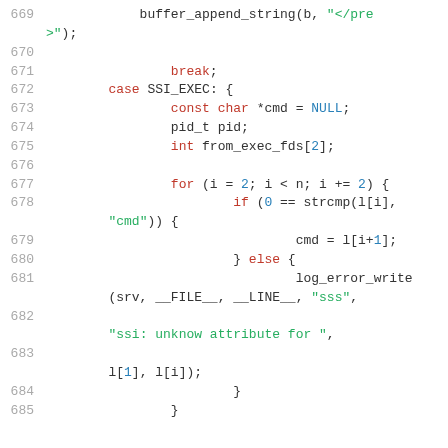[Figure (screenshot): Source code listing lines 669-685 in C, showing SSI execution logic including buffer_append_string, break, case SSI_EXEC, const char *cmd, pid_t pid, int from_exec_fds, for loop, strcmp, cmd assignment, else with log_error_write call, and closing braces.]